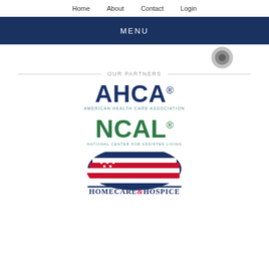Home   About   Contact   Login
MENU
[Figure (logo): Circular icon/logo partially visible]
OUR PARTNERS
[Figure (logo): AHCA - American Health Care Association logo]
[Figure (logo): NCAL - National Center for Assisted Living logo]
[Figure (logo): Homecare & Hospice logo with American flag graphic]